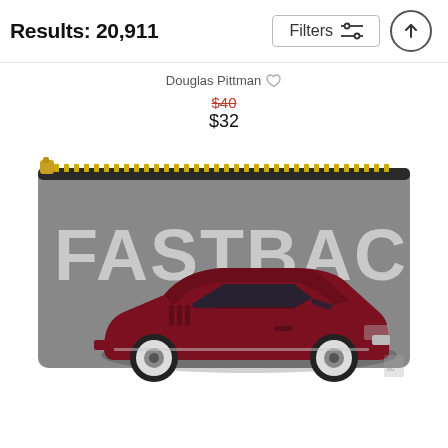Results: 20,911
Filters
Douglas Pittman
$40 (strikethrough original price)
$32
[Figure (photo): A gray zipper pouch with a dark red Ford Mustang Fastback car printed on it, with large distressed white text reading FASTBACK in the background. The pouch has a gold zipper at the top.]